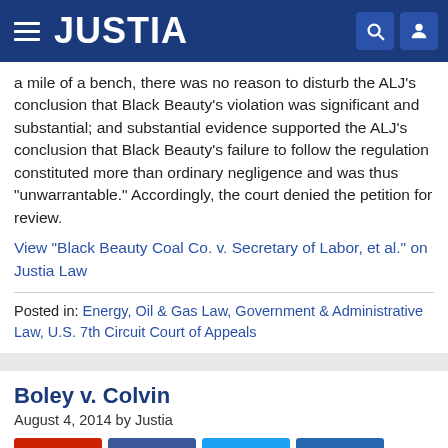JUSTIA
a mile of a bench, there was no reason to disturb the ALJ's conclusion that Black Beauty's violation was significant and substantial; and substantial evidence supported the ALJ's conclusion that Black Beauty's failure to follow the regulation constituted more than ordinary negligence and was thus "unwarrantable." Accordingly, the court denied the petition for review.
View "Black Beauty Coal Co. v. Secretary of Labor, et al." on Justia Law
Posted in: Energy, Oil & Gas Law, Government & Administrative Law, U.S. 7th Circuit Court of Appeals
Boley v. Colvin
August 4, 2014 by Justia